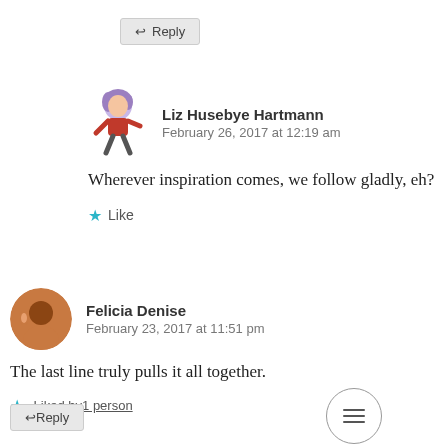↩ Reply
Liz Husebye Hartmann
February 26, 2017 at 12:19 am
Wherever inspiration comes, we follow gladly, eh?
★ Like
Felicia Denise
February 23, 2017 at 11:51 pm
The last line truly pulls it all together.
★ Liked by 1 person
↩ Reply